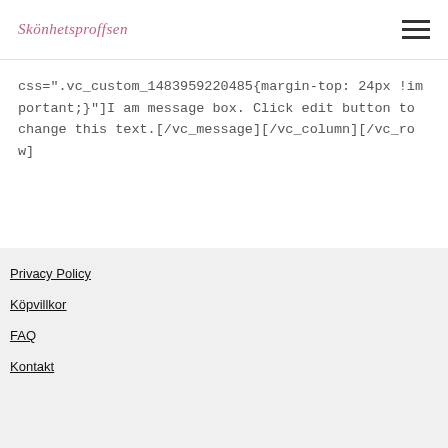Skönhetsproffsen
css=".vc_custom_1483959220485{margin-top: 24px !important;}"]I am message box. Click edit button to change this text.[/vc_message][/vc_column][/vc_row]
Privacy Policy
Köpvillkor
FAQ
Kontakt